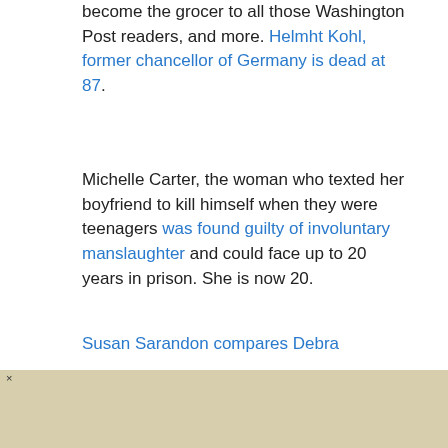become the grocer to all those Washington Post readers, and more. Helmht Kohl, former chancellor of Germany is dead at 87.
Michelle Carter, the woman who texted her boyfriend to kill himself when they were teenagers was found guilty of involuntary manslaughter and could face up to 20 years in prison. She is now 20.
Susan Sarandon compares Debra